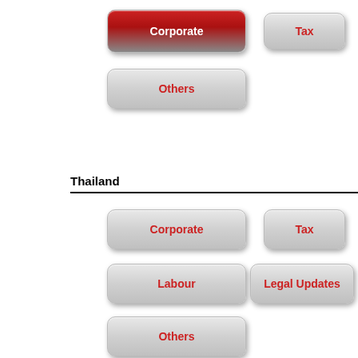[Figure (infographic): Red gradient active button labeled 'Corporate']
[Figure (infographic): Grey button labeled 'Tax']
[Figure (infographic): Grey button labeled 'Others']
Thailand
[Figure (infographic): Grey button labeled 'Corporate']
[Figure (infographic): Grey button labeled 'Tax']
[Figure (infographic): Grey button labeled 'Labour']
[Figure (infographic): Grey button labeled 'Legal Updates']
[Figure (infographic): Grey button labeled 'Others']